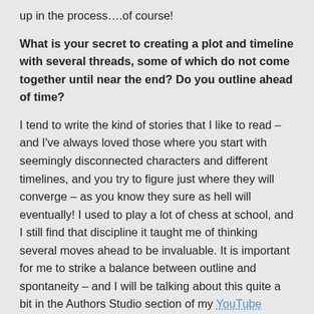up in the process….of course!
What is your secret to creating a plot and timeline with several threads, some of which do not come together until near the end?  Do you outline ahead of time?
I tend to write the kind of stories that I like to read – and I've always loved those where you start with seemingly disconnected characters and different timelines, and you try to figure just where they will converge – as you know they sure as hell will eventually! I used to play a lot of chess at school, and I still find that discipline it taught me of thinking several moves ahead to be invaluable.  It is important for me to strike a balance between outline and spontaneity – and I will be talking about this quite a bit in the Authors Studio section of my YouTube channel – where I – and many other authors, including Lee Child,